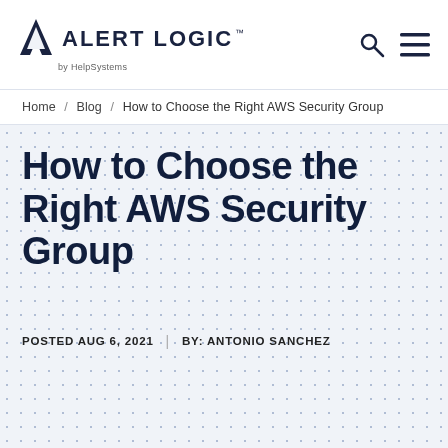[Figure (logo): Alert Logic by HelpSystems logo with stylized A icon and search/menu navigation icons]
Home / Blog / How to Choose the Right AWS Security Group
How to Choose the Right AWS Security Group
POSTED AUG 6, 2021  |  BY: ANTONIO SANCHEZ